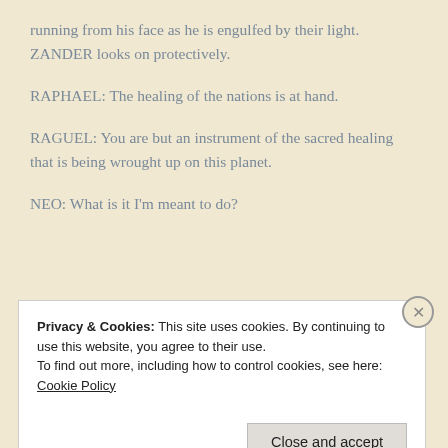running from his face as he is engulfed by their light. ZANDER looks on protectively.
RAPHAEL: The healing of the nations is at hand.
RAGUEL: You are but an instrument of the sacred healing that is being wrought up on this planet.
NEO: What is it I'm meant to do?
Privacy & Cookies: This site uses cookies. By continuing to use this website, you agree to their use.
To find out more, including how to control cookies, see here: Cookie Policy
Close and accept